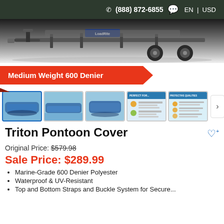(888) 872-6855  EN | USD
[Figure (photo): Boat trailer (LoadRite) photographed from the front-left angle, gray background fading to white]
Medium Weight 600 Denier
[Figure (photo): Thumbnail gallery showing: (1) blue pontoon cover on boat – selected/active; (2) blue cover on pontoon on water; (3) blue cover on pontoon from rear; (4) 'Perfect For...' info card; (5) 'Protective Qualities' info card; (6) blue fabric close-up / Marine-Grade Poly text card]
Triton Pontoon Cover
Original Price: $579.98
Sale Price: $289.99
Marine-Grade 600 Denier Polyester
Waterproof & UV-Resistant
Top and Bottom Straps and Buckle System for Secure...